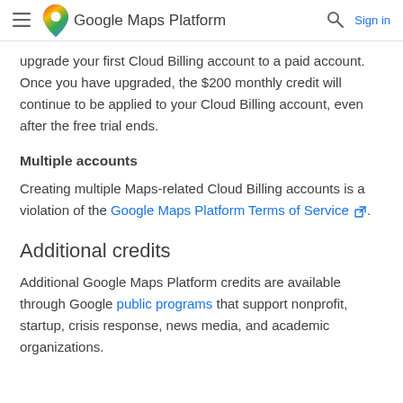Google Maps Platform  Sign in
upgrade your first Cloud Billing account to a paid account. Once you have upgraded, the $200 monthly credit will continue to be applied to your Cloud Billing account, even after the free trial ends.
Multiple accounts
Creating multiple Maps-related Cloud Billing accounts is a violation of the Google Maps Platform Terms of Service.
Additional credits
Additional Google Maps Platform credits are available through Google public programs that support nonprofit, startup, crisis response, news media, and academic organizations.